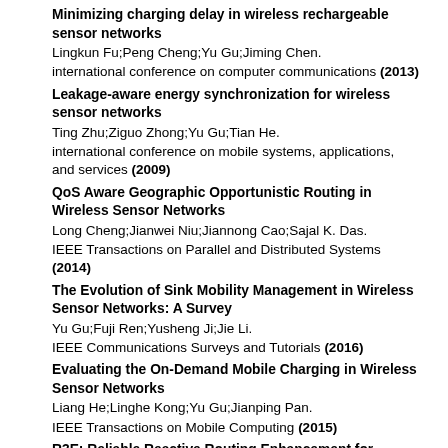Minimizing charging delay in wireless rechargeable sensor networks
Lingkun Fu;Peng Cheng;Yu Gu;Jiming Chen.
international conference on computer communications (2013)
Leakage-aware energy synchronization for wireless sensor networks
Ting Zhu;Ziguo Zhong;Yu Gu;Tian He.
international conference on mobile systems, applications, and services (2009)
QoS Aware Geographic Opportunistic Routing in Wireless Sensor Networks
Long Cheng;Jianwei Niu;Jiannong Cao;Sajal K. Das.
IEEE Transactions on Parallel and Distributed Systems (2014)
The Evolution of Sink Mobility Management in Wireless Sensor Networks: A Survey
Yu Gu;Fuji Ren;Yusheng Ji;Jie Li.
IEEE Communications Surveys and Tutorials (2016)
Evaluating the On-Demand Mobile Charging in Wireless Sensor Networks
Liang He;Linghe Kong;Yu Gu;Jianping Pan.
IEEE Transactions on Mobile Computing (2015)
R3E: Reliable Reactive Routing Enhancement for Wireless Sensor Networks
Jianwei Niu;Long Cheng;Yu Gu;Lei Shu.